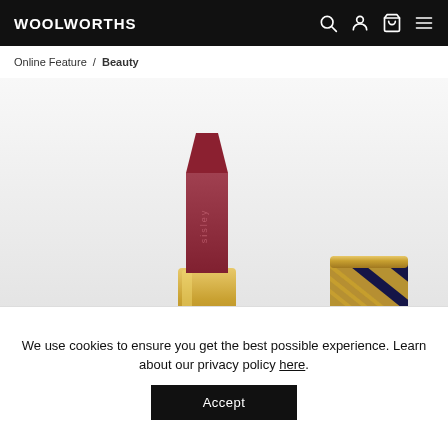WOOLWORTHS
Online Feature / Beauty
[Figure (photo): Sisley lipstick in dark red/burgundy color with gold base, cap removed and placed to the right, gold and navy striped cap, on a light grey gradient background]
We use cookies to ensure you get the best possible experience. Learn about our privacy policy here.
Accept